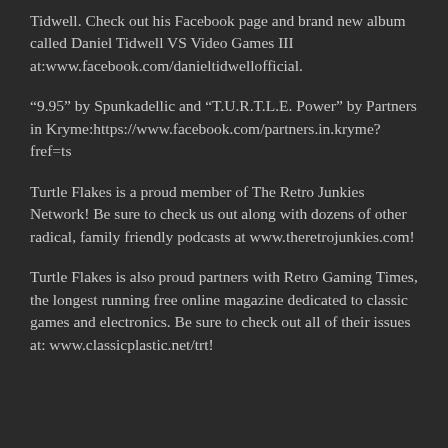Tidwell. Check out his Facebook page and brand new album called Daniel Tidwell VS Video Games III at:www.facebook.com/danieltidwellofficial.
“9.95” by Spunkadellic and “T.U.R.T.L.E. Power” by Partners in Kryme:https://www.facebook.com/partners.in.kryme?fref=ts
Turtle Flakes is a proud member of The Retro Junkies Network! Be sure to check us out along with dozens of other radical, family friendly podcasts at www.theretrojunkies.com!
Turtle Flakes is also proud partners with Retro Gaming Times, the longest running free online magazine dedicated to classic games and electronics. Be sure to check out all of their issues at: www.classicplastic.net/trt!